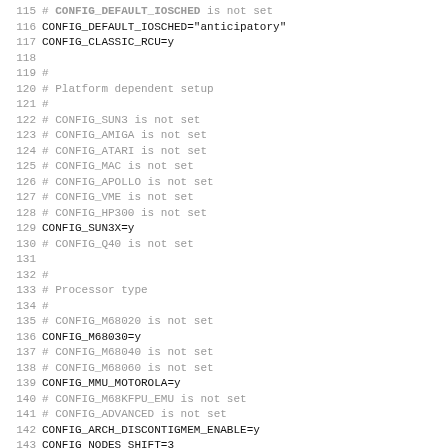115 # CONFIG_DEFAULT_IOSCHED is not set
116 CONFIG_DEFAULT_IOSCHED="anticipatory"
117 CONFIG_CLASSIC_RCU=y
118 
119 #
120 # Platform dependent setup
121 #
122 # CONFIG_SUN3 is not set
123 # CONFIG_AMIGA is not set
124 # CONFIG_ATARI is not set
125 # CONFIG_MAC is not set
126 # CONFIG_APOLLO is not set
127 # CONFIG_VME is not set
128 # CONFIG_HP300 is not set
129 CONFIG_SUN3X=y
130 # CONFIG_Q40 is not set
131 
132 #
133 # Processor type
134 #
135 # CONFIG_M68020 is not set
136 CONFIG_M68030=y
137 # CONFIG_M68040 is not set
138 # CONFIG_M68060 is not set
139 CONFIG_MMU_MOTOROLA=y
140 # CONFIG_M68KFPU_EMU is not set
141 # CONFIG_ADVANCED is not set
142 CONFIG_ARCH_DISCONTIGMEM_ENABLE=y
143 CONFIG_NODES_SHIFT=3
144 CONFIG_SELECT_MEMORY_MODEL=y
145 # CONFIG_FLATMEM_MANUAL is not set
146 CONFIG_DISCONTIGMEM_MANUAL=y
147 # CONFIG_SPARSEMEM_MANUAL is not set